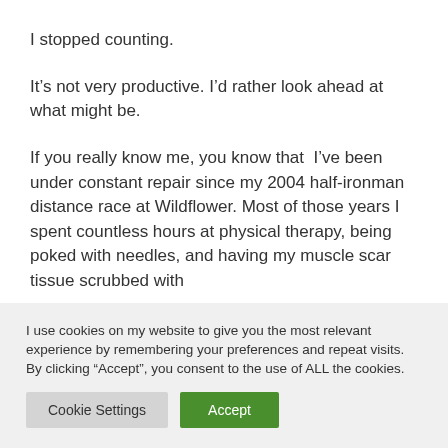I stopped counting.
It’s not very productive. I’d rather look ahead at what might be.
If you really know me, you know that  I’ve been under constant repair since my 2004 half-ironman distance race at Wildflower. Most of those years I spent countless hours at physical therapy, being poked with needles, and having my muscle scar tissue scrubbed with
I use cookies on my website to give you the most relevant experience by remembering your preferences and repeat visits. By clicking “Accept”, you consent to the use of ALL the cookies.